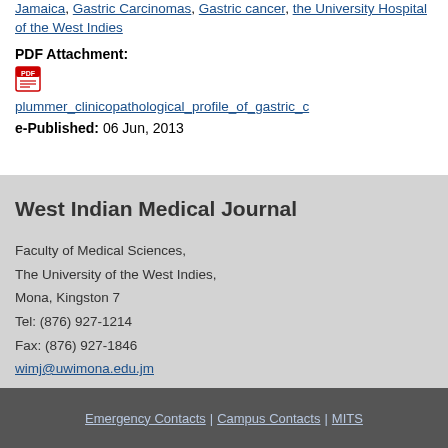Jamaica, Gastric Carcinomas, Gastric cancer, the University Hospital of the West Indies
PDF Attachment:
[Figure (other): PDF file icon]
plummer_clinicopathological_profile_of_gastric_c
e-Published: 06 Jun, 2013
West Indian Medical Journal
Faculty of Medical Sciences,
The University of the West Indies,
Mona, Kingston 7
Tel: (876) 927-1214
Fax: (876) 927-1846
wimj@uwimona.edu.jm
Emergency Contacts | Campus Contacts | MITS